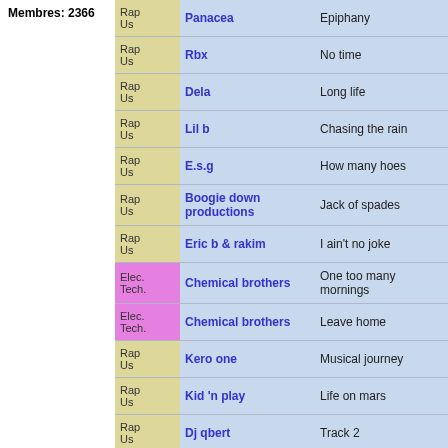Membres: 2366
| Genre | Artist | Track |
| --- | --- | --- |
| Rap Us | Panacea | Epiphany |
| Rap Us | Rbx | No time |
| Rap Us | Dela | Long life |
| Rap Us | Lil b | Chasing the rain |
| Rap Us | E.s.g | How many hoes |
| Rap Us | Boogie down productions | Jack of spades |
| Rap Us | Eric b & rakim | I ain't no joke |
| Elec. Tech. | Chemical brothers | One too many mornings |
| Elec. Tech. | Chemical brothers | Leave home |
| Rap Us | Kero one | Musical journey |
| Rap Us | Kid 'n play | Life on mars |
| Rap Us | Dj qbert | Track 2 |
| Rap Us | Digital underground | Gutfest '89 |